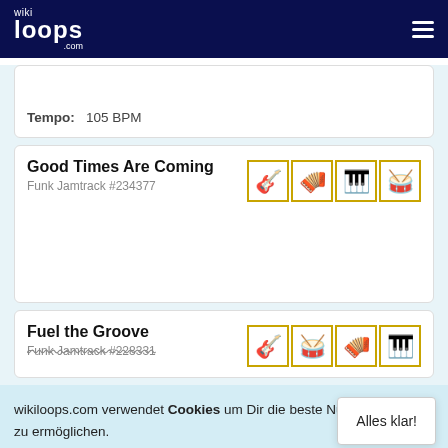wikiloops.com
Tempo: 105 BPM
Good Times Are Coming
Funk Jamtrack #234377
Fuel the Groove
Funk Jamtrack #228331
wikiloops.com verwendet Cookies um Dir die beste Nutzererfahrung zu ermöglichen. Lies mehr in unseren Datenschutzbestimmungen .